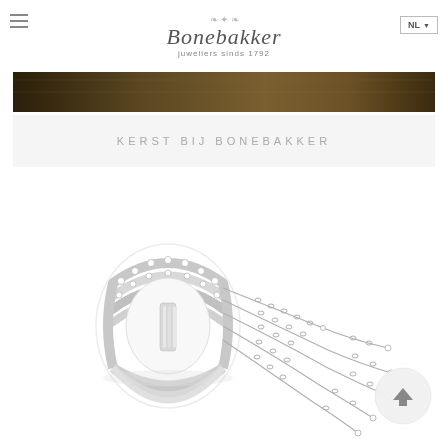Bonebakker — juweliers sinds 1792
[Figure (photo): Dark brown banner image, likely a store or festive display]
KERST BIJ BONEBAKKER
[Figure (photo): White gold diamond ring with multiple bands and dangling chain tassels adorned with diamonds]